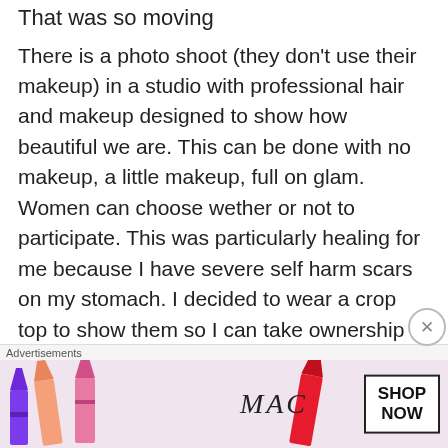That was so moving
There is a photo shoot (they don't use their makeup) in a studio with professional hair and makeup designed to show how beautiful we are. This can be done with no makeup, a little makeup, full on glam. Women can choose wether or not to participate. This was particularly healing for me because I have severe self harm scars on my stomach. I decided to wear a crop top to show them so I can take ownership back of something I hav
Advertisements
[Figure (photo): MAC cosmetics advertisement banner showing colorful lipsticks on the left and MAC logo with a SHOP NOW button on the right]